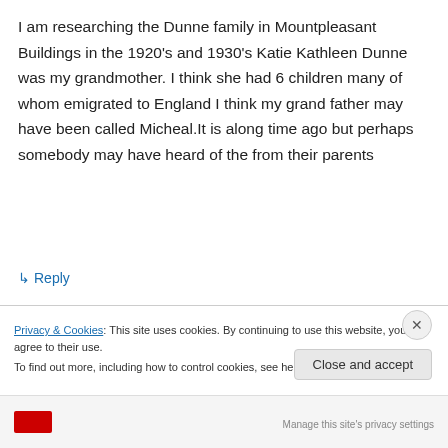I am researching the Dunne family in Mountpleasant Buildings in the 1920's and 1930's Katie Kathleen Dunne was my grandmother. I think she had 6 children many of whom emigrated to England I think my grand father may have been called Micheal.It is along time ago but perhaps somebody may have heard of the from their parents
↳ Reply
Privacy & Cookies: This site uses cookies. By continuing to use this website, you agree to their use.
To find out more, including how to control cookies, see here: Cookie Policy
Close and accept